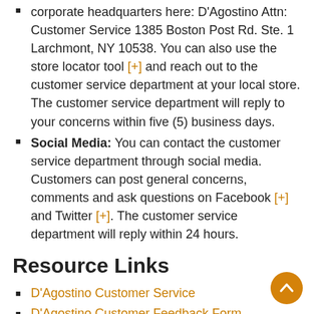corporate headquarters here: D'Agostino Attn: Customer Service 1385 Boston Post Rd. Ste. 1 Larchmont, NY 10538. You can also use the store locator tool [+] and reach out to the customer service department at your local store. The customer service department will reply to your concerns within five (5) business days.
Social Media: You can contact the customer service department through social media. Customers can post general concerns, comments and ask questions on Facebook [+] and Twitter [+]. The customer service department will reply within 24 hours.
Resource Links
D'Agostino Customer Service
D'Agostino Customer Feedback Form
D'Agostino Store Locator